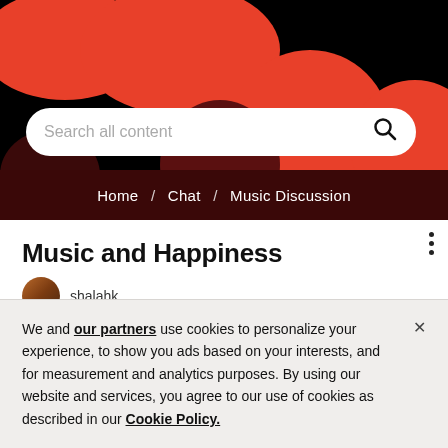[Figure (screenshot): Website header with red and black abstract blob shapes background, white search bar with text 'Search all content' and magnifying glass icon, dark red navigation bar with breadcrumb 'Home / Chat / Music Discussion']
Music and Happiness
shalahk
We and our partners use cookies to personalize your experience, to show you ads based on your interests, and for measurement and analytics purposes. By using our website and services, you agree to our use of cookies as described in our Cookie Policy.